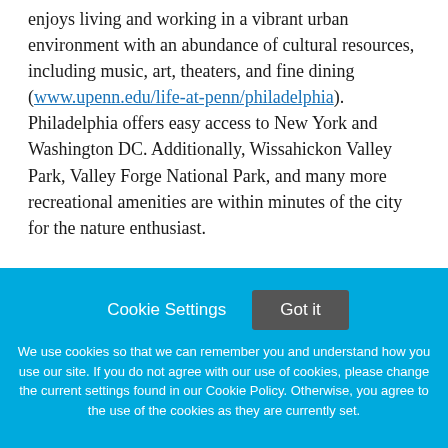enjoys living and working in a vibrant urban environment with an abundance of cultural resources, including music, art, theaters, and fine dining (www.upenn.edu/life-at-penn/philadelphia). Philadelphia offers easy access to New York and Washington DC. Additionally, Wissahickon Valley Park, Valley Forge National Park, and many more recreational amenities are within minutes of the city for the nature enthusiast.
Cookie Settings  Got it

We use cookies so that we can remember you and understand how you use our site. If you do not agree with our use of cookies, please change the current settings found in our Cookie Policy. Otherwise, you agree to the use of the cookies as they are currently set.